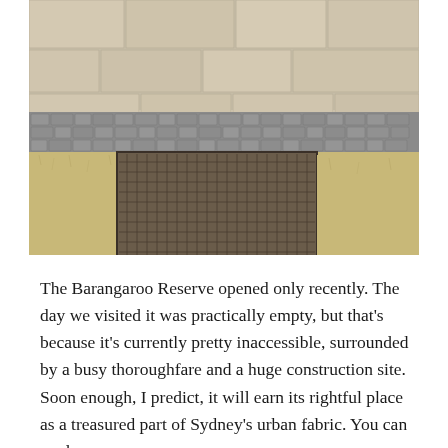[Figure (photo): Outdoor photograph showing a sandstone block wall in the background with a grey cobblestone path running along its base. In the foreground is a square dark metal or stone grid/grate set into dry brown grass. The scene is at Barangaroo Reserve, Sydney.]
The Barangaroo Reserve opened only recently. The day we visited it was practically empty, but that's because it's currently pretty inaccessible, surrounded by a busy thoroughfare and a huge construction site. Soon enough, I predict, it will earn its rightful place as a treasured part of Sydney's urban fabric. You can read